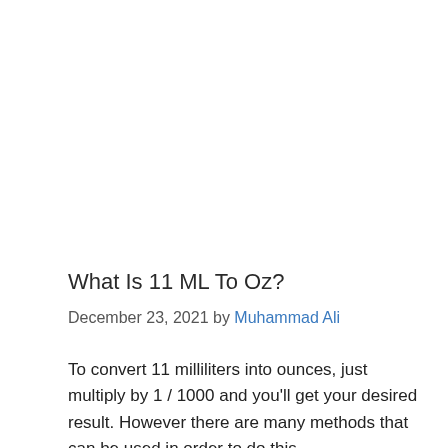What Is 11 ML To Oz?
December 23, 2021 by Muhammad Ali
To convert 11 milliliters into ounces, just multiply by 1 / 1000 and you'll get your desired result. However there are many methods that can be used in order to do this